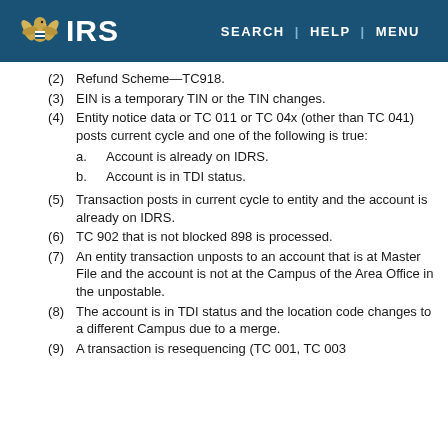IRS | SEARCH | HELP | MENU
(2) Refund Scheme—TC918.
(3) EIN is a temporary TIN or the TIN changes.
(4) Entity notice data or TC 011 or TC 04x (other than TC 041) posts current cycle and one of the following is true: a. Account is already on IDRS. b. Account is in TDI status.
(5) Transaction posts in current cycle to entity and the account is already on IDRS.
(6) TC 902 that is not blocked 898 is processed.
(7) An entity transaction unposts to an account that is at Master File and the account is not at the Campus of the Area Office in the unpostable.
(8) The account is in TDI status and the location code changes to a different Campus due to a merge.
(9) A transaction is resequencing (TC 001, TC 003